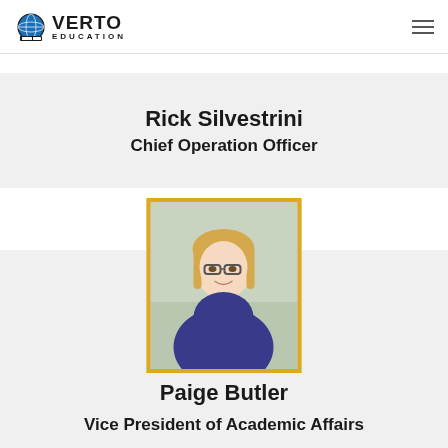Verto Education
Rick Silvestrini
Chief Operation Officer
[Figure (photo): Professional headshot of Paige Butler, a woman with blonde hair and glasses, smiling, wearing a blue top, framed with a gold/yellow border]
Paige Butler
Vice President of Academic Affairs